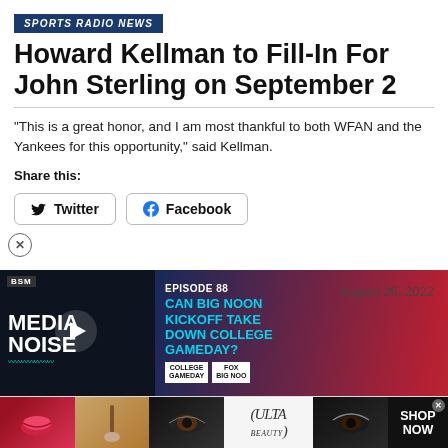SPORTS RADIO NEWS
Howard Kellman to Fill-In For John Sterling on September 2
"This is a great honor, and I am most thankful to both WFAN and the Yankees for this opportunity," said Kellman.
Share this:
[Figure (screenshot): Social share buttons for Twitter and Facebook]
[Figure (screenshot): Media Noise podcast banner ad with BSM logo, episode teaser 'CAN BIG NOON KICKOFF TAKE DOWN COLLEGE GAMEDAY?', play button, College Gameday and Fox Big Noon logos]
August 26, 2022
[Figure (infographic): Ulta Beauty advertisement strip showing makeup imagery (lips, brush, eye), Ulta logo, and SHOP NOW call to action]